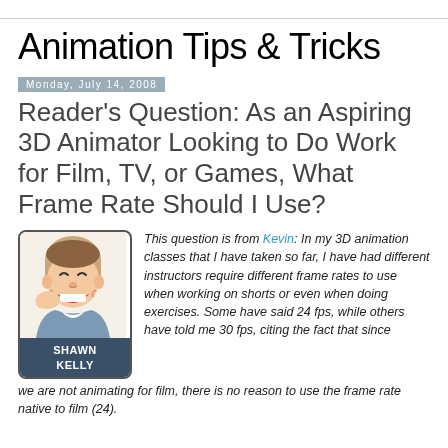Animation Tips & Tricks
Monday, July 14, 2008
Reader's Question: As an Aspiring 3D Animator Looking to Do Work for Film, TV, or Games, What Frame Rate Should I Use?
[Figure (illustration): Cartoon illustration of a laughing man labeled SHAWN KELLY]
This question is from Kevin: In my 3D animation classes that I have taken so far, I have had different instructors require different frame rates to use when working on shorts or even when doing exercises. Some have said 24 fps, while others have told me 30 fps, citing the fact that since we are not animating for film, there is no reason to use the frame rate native to film (24).